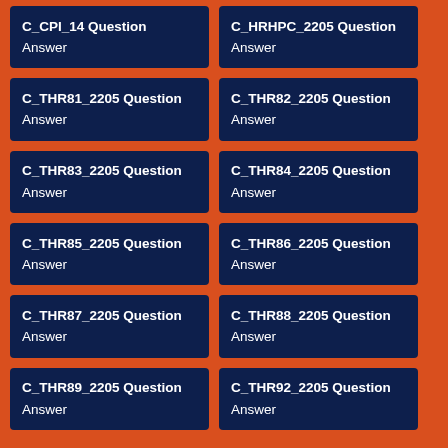C_CPI_14 Question Answer
C_HRHPC_2205 Question Answer
C_THR81_2205 Question Answer
C_THR82_2205 Question Answer
C_THR83_2205 Question Answer
C_THR84_2205 Question Answer
C_THR85_2205 Question Answer
C_THR86_2205 Question Answer
C_THR87_2205 Question Answer
C_THR88_2205 Question Answer
C_THR89_2205 Question Answer
C_THR92_2205 Question Answer